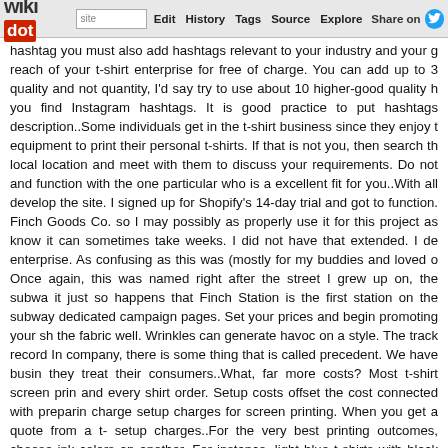wikidot | site | Edit | History | Tags | Source | Explore | Share on Twitter
hashtag you must also add hashtags relevant to your industry and your g reach of your t-shirt enterprise for free of charge. You can add up to 3 quality and not quantity, I'd say try to use about 10 higher-good quality h you find Instagram hashtags. It is good practice to put hashtags description..Some individuals get in the t-shirt business since they enjoy t equipment to print their personal t-shirts. If that is not you, then search th local location and meet with them to discuss your requirements. Do not and function with the one particular who is a excellent fit for you..With all develop the site. I signed up for Shopify's 14-day trial and got to function. Finch Goods Co. so I may possibly as properly use it for this project as know it can sometimes take weeks. I did not have that extended. I de enterprise. As confusing as this was (mostly for my buddies and loved o Once again, this was named right after the street I grew up on, the subwa it just so happens that Finch Station is the first station on the subway dedicated campaign pages. Set your prices and begin promoting your sh the fabric well. Wrinkles can generate havoc on a style. The track record In company, there is some thing that is called precedent. We have busin they treat their consumers..What, far more costs? Most t-shirt screen prin and every shirt order. Setup costs offset the cost connected with preparin charge setup charges for screen printing. When you get a quote from a t- setup charges..For the very best printing outcomes, choose ink colors an another. For instance, light blue t-shirts with black printing, or red t-shirts your own retailer setup, you'll want to hook it up with a T-Shirt fulfilment f one particular of the other a number of options out there..It feels like it wa its customers to be capable to sell and purchase without leaving the ap been making use of Instagram to showcase their items and convince th internet site exactly where they could in fact total the acquire..The Bonfi draw inspiration from ahead of generating your final draft for printing